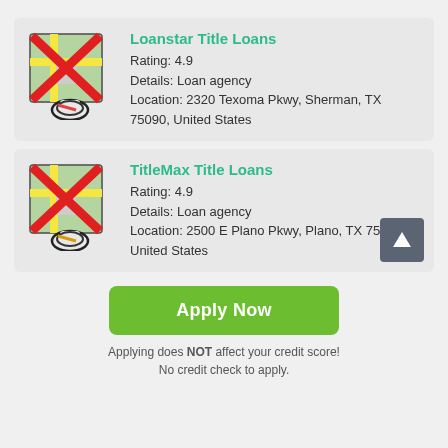[Figure (screenshot): Map icon with red X overlay for Loanstar Title Loans]
Loanstar Title Loans
Rating: 4.9
Details: Loan agency
Location: 2320 Texoma Pkwy, Sherman, TX 75090, United States
[Figure (screenshot): Map icon with red X overlay for TitleMax Title Loans]
TitleMax Title Loans
Rating: 4.9
Details: Loan agency
Location: 2500 E Plano Pkwy, Plano, TX 75074, United States
Apply Now
Applying does NOT affect your credit score!
No credit check to apply.